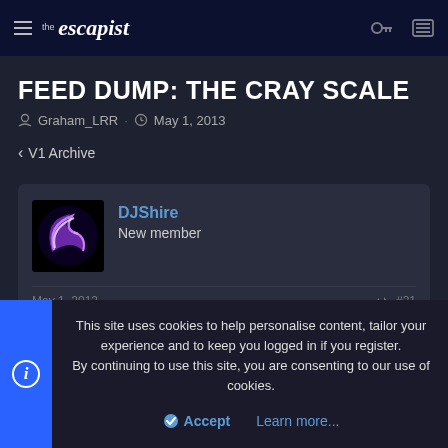the escapist
FEED DUMP: THE CRAY SCALE
Graham_LRR · May 1, 2013
< V1 Archive
[Figure (illustration): Avatar image for DJShire — black background with a purple/white swoosh logo resembling the letter Z]
DJShire
New member
May 1, 2013   #21
This site uses cookies to help personalise content, tailor your experience and to keep you logged in if you register.
By continuing to use this site, you are consenting to our use of cookies.

✓ Accept    Learn more...